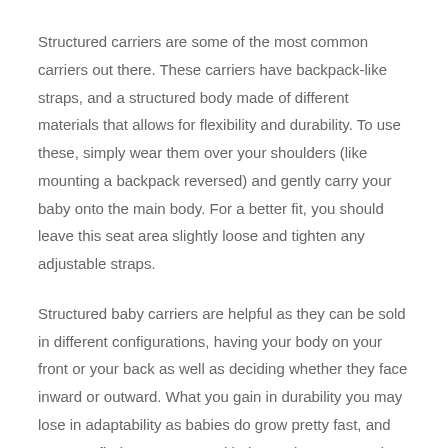Structured carriers are some of the most common carriers out there. These carriers have backpack-like straps, and a structured body made of different materials that allows for flexibility and durability. To use these, simply wear them over your shoulders (like mounting a backpack reversed) and gently carry your baby onto the main body. For a better fit, you should leave this seat area slightly loose and tighten any adjustable straps.
Structured baby carriers are helpful as they can be sold in different configurations, having your body on your front or your back as well as deciding whether they face inward or outward. What you gain in durability you may lose in adaptability as babies do grow pretty fast, and you may find your structured baby carrier outgrown in a few months.
The most popular type of baby wrap is the sling. It's a single strap that wraps around your shoulders and around your body. They are